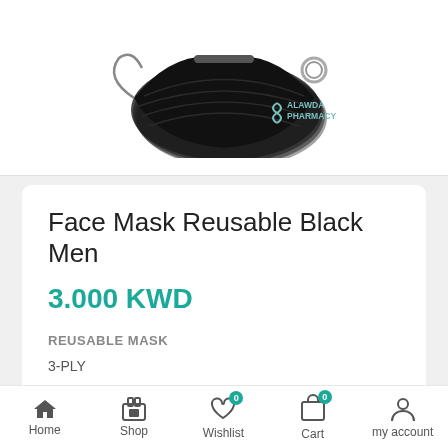[Figure (photo): Black reusable face mask product image with ear loops, shown stacked at an angle on white background. Alawda Pharmacy logo visible in bottom-right of image area.]
Face Mask Reusable Black Men
3.000 KWD
REUSABLE MASK
3-PLY
In stock
ADD TO CART
Home  Shop  Wishlist  Cart  my account